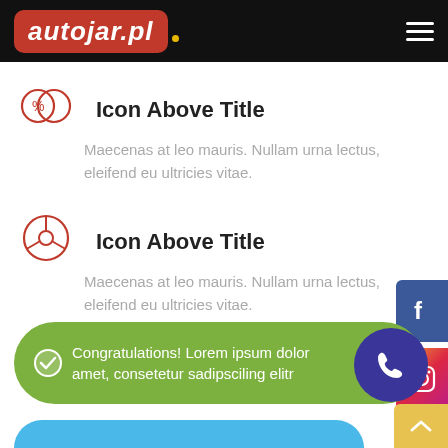[Figure (logo): autojar.pl logo — white italic bold text on red rounded rectangle background, with small yellow dot]
Icon Above Title
Maecenas at leo mauris. Nullam urna lectus, eleifend eu ultricies vitae.
Icon Above Title
Maecenas at leo mauris. Nullam urna lectus, eleifend eu ultricies vitae.
[Figure (infographic): Green pill-shaped banner with checkmark icon and text: Congratulations! Lorem ipsum dolor amet, consetetur sadipsciling elitr. Blue circle with phone icon on right side.]
Congratulations! Lorem ipsum dolor amet, consetetur sadipsciling elitr